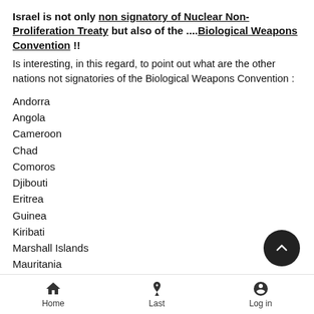Israel is not only non signatory of Nuclear Non-Proliferation Treaty but also of the ....Biological Weapons Convention !!
Is interesting, in this regard, to point out what are the other nations not signatories of the Biological Weapons Convention :
Andorra
Angola
Cameroon
Chad
Comoros
Djibouti
Eritrea
Guinea
Kiribati
Marshall Islands
Mauritania
Micronesia (Federated States of)
Namibia
Home   Last   Log in